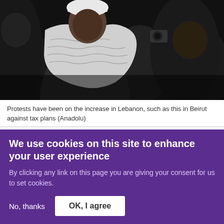[Figure (photo): Crowd of people at a protest in Beirut, Lebanon. Several individuals visible in dark clothing; one person wearing a white patterned garment prominently in foreground.]
Protests have been on the increase in Lebanon, such as this in Beirut against tax plans (Anadolu)
By Olivia Alabaster
Published date: 27 March 2017 17:56 UTC
Last update: 5 years 5 months ago
[Figure (other): Social media share buttons: Facebook, Twitter, Google+, email, and another sharing option shown as circular outlined icons partially visible at bottom of content area.]
We use cookies on this site to enhance your user experience
By clicking any link on this page you are giving your consent for us to set cookies.
No, thanks   OK, I agree